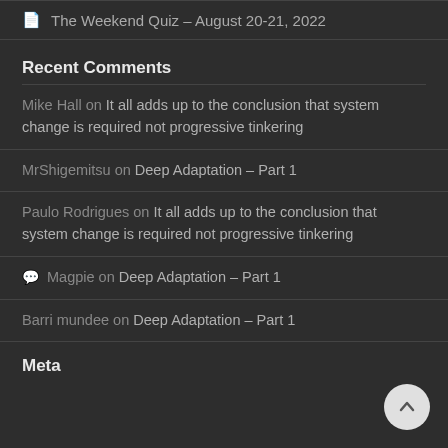The Weekend Quiz – August 20-21, 2022
Recent Comments
Mike Hall on It all adds up to the conclusion that system change is required not progressive tinkering
MrShigemitsu on Deep Adaptation – Part 1
Paulo Rodrigues on It all adds up to the conclusion that system change is required not progressive tinkering
Magpie on Deep Adaptation – Part 1
Barri mundee on Deep Adaptation – Part 1
Meta